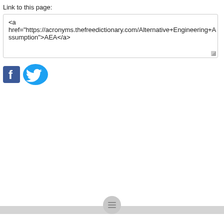Link to this page:
<a href="https://acronyms.thefreedictionary.com/Alternative+Engineering+Assumption">AEA</a>
[Figure (logo): Facebook and Twitter social media share icons side by side]